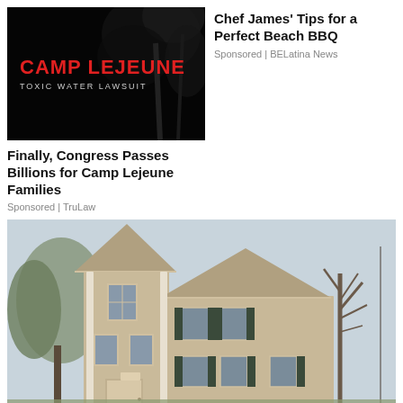[Figure (photo): Camp Lejeune Toxic Water Lawsuit advertisement image — black background with red text 'CAMP LEJEUNE' and white text 'TOXIC WATER LAWSUIT']
Finally, Congress Passes Billions for Camp Lejeune Families
Sponsored | TruLaw
Chef James' Tips for a Perfect Beach BBQ
Sponsored | BELatina News
[Figure (photo): Exterior photo of a two-story colonial-style house with beige/tan siding, white trim columns, and dark shutters on windows, surrounded by trees]